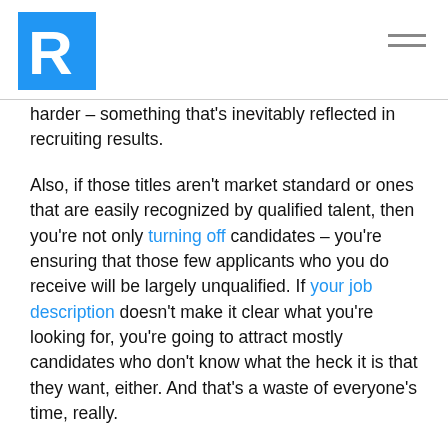R logo and navigation menu
harder – something that's inevitably reflected in recruiting results.

Also, if those titles aren't market standard or ones that are easily recognized by qualified talent, then you're not only turning off candidates – you're ensuring that those few applicants who you do receive will be largely unqualified. If your job description doesn't make it clear what you're looking for, you're going to attract mostly candidates who don't know what the heck it is that they want, either. And that's a waste of everyone's time, really.

Poorly-written job titles can completely bunk up a good job description. If there's not a standard title